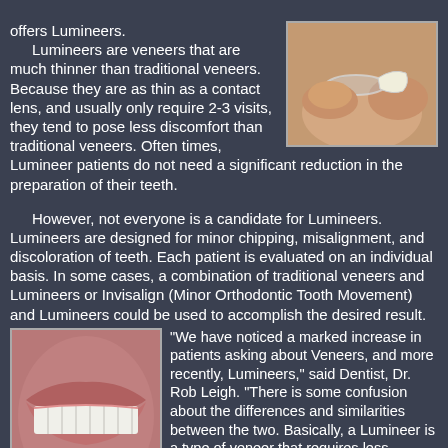offers Lumineers. Lumineers are veneers that are much thinner than traditional veneers. Because they are as thin as a contact lens, and usually only require 2-3 visits, they tend to pose less discomfort than traditional veneers. Often times, Lumineer patients do not need a significant reduction in the preparation of their teeth.
[Figure (photo): Close-up photo of a contact lens and a dental veneer held between fingers]
However, not everyone is a candidate for Lumineers. Lumineers are designed for minor chipping, misalignment, and discoloration of teeth. Each patient is evaluated on an individual basis. In some cases, a combination of traditional veneers and Lumineers or Invisalign (Minor Orthodontic Tooth Movement) and Lumineers could be used to accomplish the desired result.
[Figure (photo): Close-up photo of a person smiling showing white teeth and lips]
"We have noticed a marked increase in patients asking about Veneers, and more recently, Lumineers," said Dentist, Dr. Rob Leigh. "There is some confusion about the differences and similarities between the two. Basically, a Lumineer is a type of veneer that requires less preparation and little or no removal of the tooth structure."
Lumineers are ideal for minor cosmetic adjustments, but we would not recommend them for a major extreme-